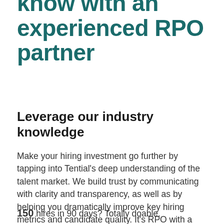know with an experienced RPO partner
Leverage our industry knowledge
Make your hiring investment go further by tapping into Tential’s deep understanding of the talent market. We build trust by communicating with clarity and transparency, as well as by helping you dramatically improve key hiring metrics and candidate quality. It’s RPO with a clear ROI.
150 hires in 90 days? Totally doable.